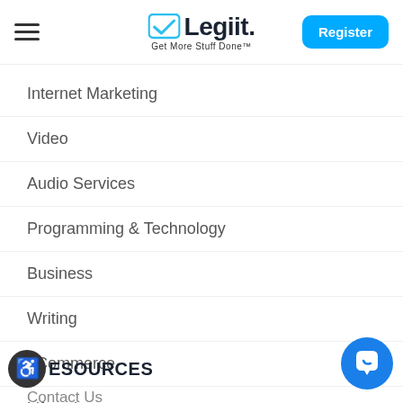[Figure (logo): Legiit logo with blue checkmark and tagline 'Get More Stuff Done']
Register
Internet Marketing
Video
Audio Services
Programming & Technology
Business
Writing
eCommerce
Lifestyle
RESOURCES
Contact Us